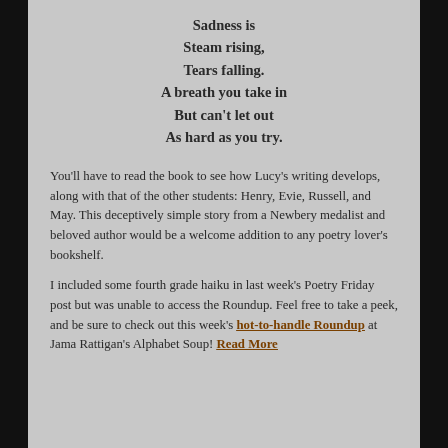Sadness is
Steam rising,
Tears falling.
A breath you take in
But can't let out
As hard as you try.
You'll have to read the book to see how Lucy's writing develops, along with that of the other students: Henry, Evie, Russell, and May. This deceptively simple story from a Newbery medalist and beloved author would be a welcome addition to any poetry lover's bookshelf.
I included some fourth grade haiku in last week's Poetry Friday post but was unable to access the Roundup. Feel free to take a peek, and be sure to check out this week's hot-to-handle Roundup at Jama Rattigan's Alphabet Soup! Read More